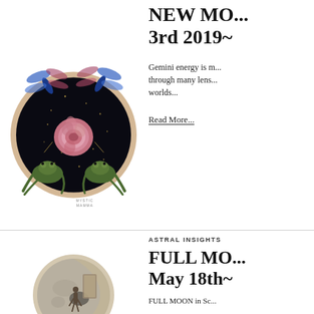[Figure (illustration): Circular dark mandala illustration with dragonflies at top, a pink flower/peony in center, and two frogs at bottom, with gold star details, labeled MYSTIC MAMMA]
NEW MOON June 3rd 2019~
Gemini energy is m... through many lens... worlds...
Read More...
ASTRAL INSIGHTS
[Figure (illustration): Circular illustration showing a moon with a figure standing near a door or portal, in muted grey and beige tones]
FULL MOON May 18th~
FULL MOON in Sc...